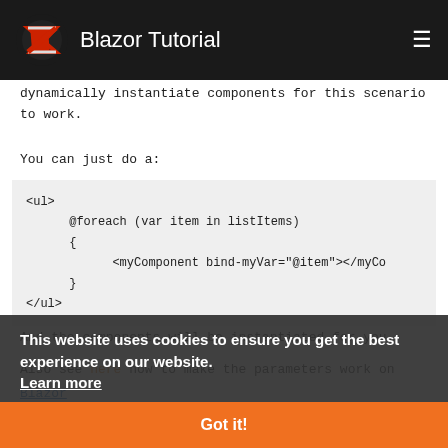Blazor Tutorial
dynamically instantiate components for this scenario to work.
You can just do a:
<ul>
    @foreach (var item in listItems)
    {
        <myComponent bind-myVar="@item"></myC
    }
</ul>
And the components will be instantiated for you.
Also see here how to make the parameters work on
This website uses cookies to ensure you get the best experience on our website. Learn more
Got it!